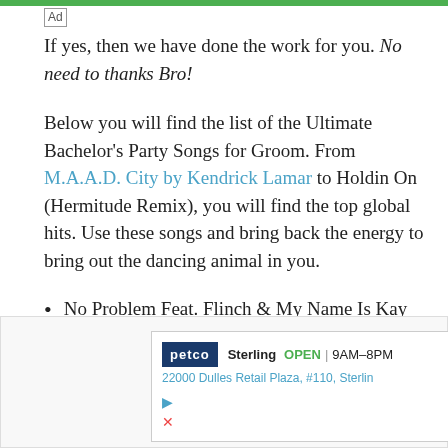Ad
If yes, then we have done the work for you. No need to thanks Bro!
Below you will find the list of the Ultimate Bachelor's Party Songs for Groom. From M.A.A.D. City by Kendrick Lamar to Holdin On (Hermitude Remix), you will find the top global hits. Use these songs and bring back the energy to bring out the dancing animal in you.
No Problem Feat. Flinch & My Name Is Kay
M.A.A.D. City Kendrick Lamar
[Figure (infographic): Advertisement for Petco store in Sterling showing store hours OPEN 9AM-8PM, address 22000 Dulles Retail Plaza, #110, Sterling, and a navigation arrow icon]